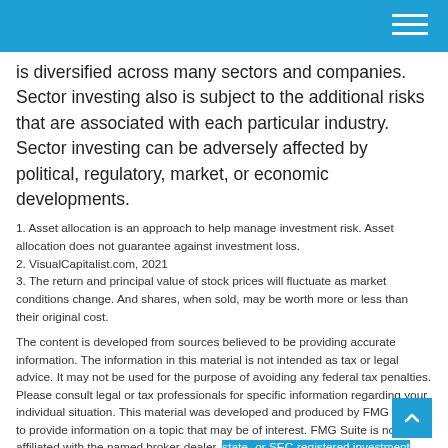is diversified across many sectors and companies. Sector investing also is subject to the additional risks that are associated with each particular industry. Sector investing can be adversely affected by political, regulatory, market, or economic developments.
1. Asset allocation is an approach to help manage investment risk. Asset allocation does not guarantee against investment loss.
2. VisualCapitalist.com, 2021
3. The return and principal value of stock prices will fluctuate as market conditions change. And shares, when sold, may be worth more or less than their original cost.
The content is developed from sources believed to be providing accurate information. The information in this material is not intended as tax or legal advice. It may not be used for the purpose of avoiding any federal tax penalties. Please consult legal or tax professionals for specific information regarding your individual situation. This material was developed and produced by FMG Suite to provide information on a topic that may be of interest. FMG Suite is not affiliated with the named broker-dealer, state- or SEC-registered investment advisory firm. The opinions expressed and material provided are for general information, and should not be considered a solicitation for the purchase or sale of any security. Copyright 2022 FMG Suite.